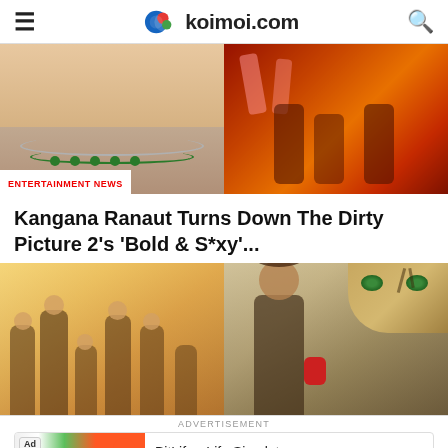koimoi.com
[Figure (photo): Two entertainment images side by side: left shows a woman wearing a jewelled necklace, right shows a colorful Bollywood dance scene. Badge reads ENTERTAINMENT NEWS.]
Kangana Ranaut Turns Down The Dirty Picture 2’s ‘Bold & S*xy’...
[Figure (photo): Two images side by side: left shows a family group hugging smiling, right shows a man with wild hair in front of a tiger.]
ADVERTISEMENT
[Figure (screenshot): BitLife - Life Simulator advertisement banner with app icon and Install button.]